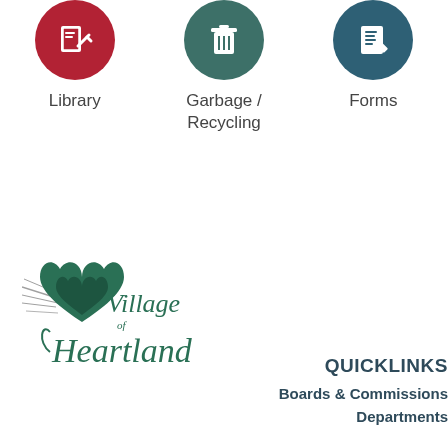[Figure (infographic): Three icon circles in a row: red circle with library/book icon labeled 'Library', teal-dark circle with trash/recycling icon labeled 'Garbage / Recycling', teal-blue circle with forms/document icon labeled 'Forms']
[Figure (logo): Village of Heartland logo with green heart and cursive text]
QUICKLINKS
Boards & Commissions
Departments